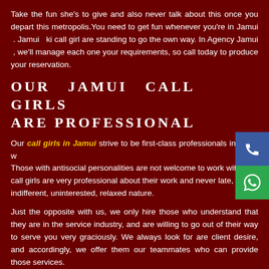Take the fun she's to give and also never talk about this once you depart this metropolis.You need to get fun whenever you're in Jamui . Jamui ki call girl are standing to go the own way. In Agency Jamui , we'll manage each one your requirements, so call today to produce your reservation.
OUR JAMUI CALL GIRLS ARE PROFESSIONAL
Our call girls in Jamui strive to be first-class professionals in every w Those with antisocial personalities are not welcome to work with us. call girls are very professional about their work and never late, with indifferent, uninterested, relaxed nature.
Just the opposite with us, we only hire those who understand that they are in the service industry, and are willing to go out of their way to serve you very graciously. We always look for are client desire, and accordingly, we offer them our teammates who can provide those services.
Our sessions are guaranteed to be the most pleasurable. Our girls like to take their time to treat you to the premium experience adequately. You will enjoy erotic and wild sex solely devoted to your pampering and